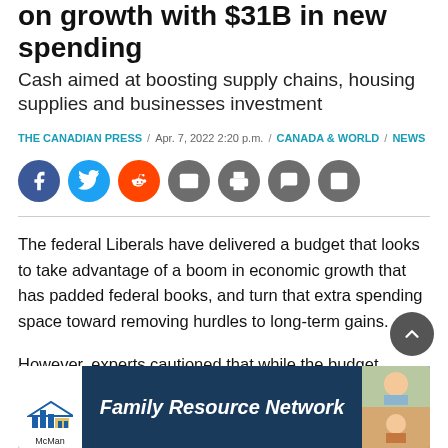on growth with $31B in new spending
Cash aimed at boosting supply chains, housing supplies and businesses investment
THE CANADIAN PRESS / Apr. 7, 2022 2:20 p.m. / CANADA & WORLD / NEWS
[Figure (infographic): Row of social sharing icon buttons: Facebook (blue), Twitter (blue), Reddit (orange), Email (grey), Print (grey), Comment (grey), Photo gallery (grey)]
The federal Liberals have delivered a budget that looks to take advantage of a boom in economic growth that has padded federal books, and turn that extra spending space toward removing hurdles to long-term gains.
However, experts cautioned that while the budget recognizes the country needs to do more to boost fut...
[Figure (infographic): McMan Family Resource Network advertisement banner with logo and photos of children]